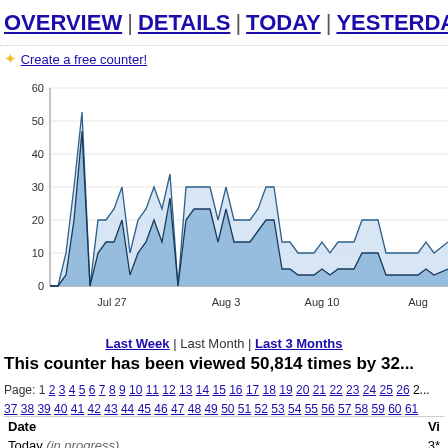OVERVIEW | DETAILS | TODAY | YESTERDAY |
✦ Create a free counter!
[Figure (area-chart): Two-series area chart showing page views and unique visitors over time, with values ranging from 0 to 60. Peak around Jul 27 at ~54.]
Last Week | Last Month | Last 3 Months
This counter has been viewed 50,814 times by 32...
Page: 1 2 3 4 5 6 7 8 9 10 11 12 13 14 15 16 17 18 19 20 21 22 23 24 25 26 2... 37 38 39 40 41 42 43 44 45 46 47 48 49 50 51 52 53 54 55 56 57 58 59 60 61
| Date | Vi |
| --- | --- |
| Today (in progress) | 3* |
| August 21, 2022 | 14 |